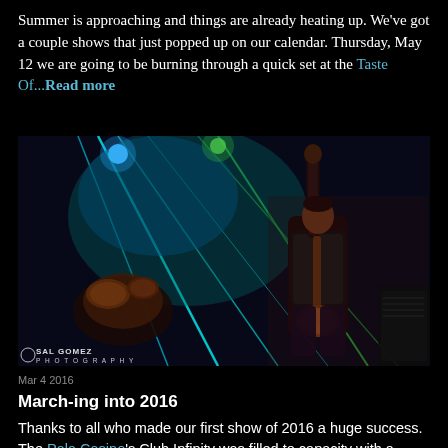Summer is approaching and things are already heating up. We've got a couple shows that just popped up on our calendar. Thursday, May 12 we are going to be burning through a quick set at the Taste Of...Read more
[Figure (photo): Concert photo showing a guitarist on stage with dramatic teal and green laser lights, drum kit visible in background, Sal Gomez Photography watermark]
Mar 4 2016
March-ing into 2016
Thanks to all who made our first show of 2016 a huge success. The Pala Casino's Club Infinity was filled to capacity with a record crowd on...